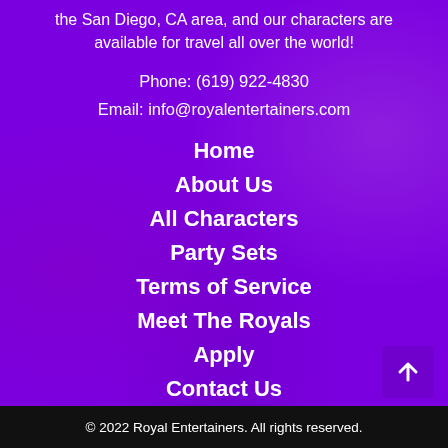the San Diego, CA area, and our characters are available for travel all over the world!
Phone: (619) 922-4830
Email: info@royalentertainers.com
Home
About Us
All Characters
Party Sets
Terms of Service
Meet The Royals
Apply
Contact Us
© 2022 Royal Entertainers. All rights reserved.